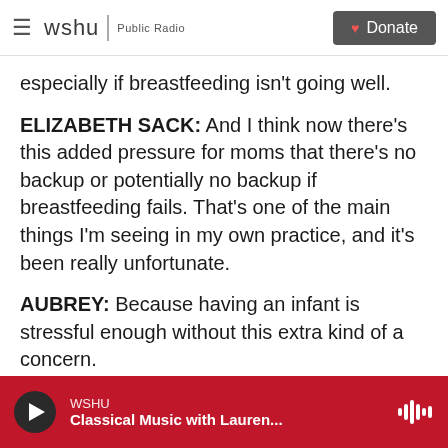wshu | Public Radio   Donate
especially if breastfeeding isn't going well.
ELIZABETH SACK: And I think now there's this added pressure for moms that there's no backup or potentially no backup if breastfeeding fails. That's one of the main things I'm seeing in my own practice, and it's been really unfortunate.
AUBREY: Because having an infant is stressful enough without this extra kind of a concern.
INSKEEP: It's good to hear that, at least in that case, people are finding something. Even though there's a shortage, they're finding formula somewhere. But
WSHU   Classical Music with Lauren...